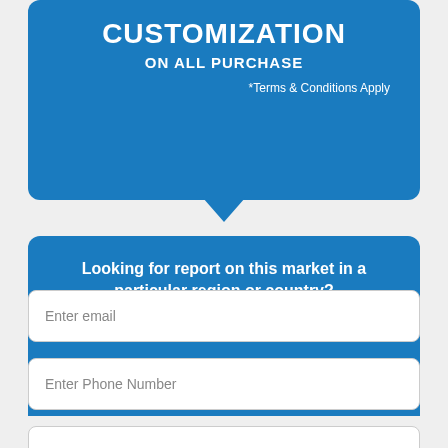CUSTOMIZATION
ON ALL PURCHASE
*Terms & Conditions Apply
Looking for report on this market in a particular region or country? GET IN TOUCH
Enter email
Enter Phone Number